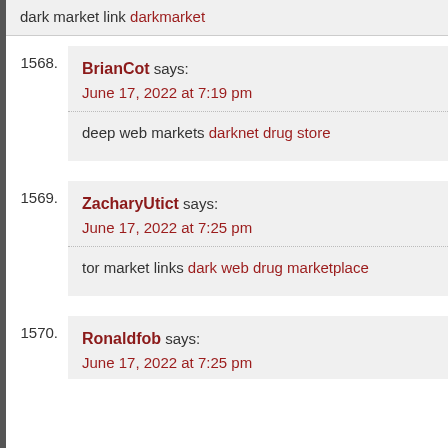dark market link darkmarket
1568. BrianCot says: June 17, 2022 at 7:19 pm — deep web markets darknet drug store
1569. ZacharyUtict says: June 17, 2022 at 7:25 pm — tor market links dark web drug marketplace
1570. Ronaldfob says: June 17, 2022 at 7:25 pm